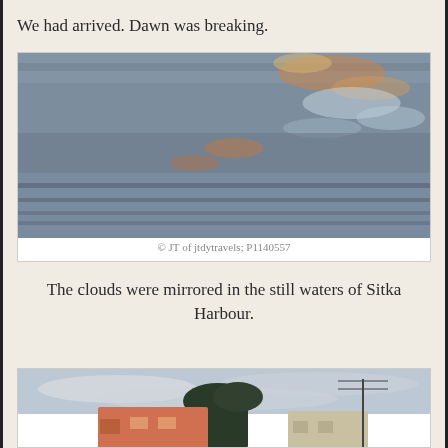We had arrived. Dawn was breaking.
[Figure (photo): Reflections of dawn colors (orange, pink, grey) in still harbour water, blurry/impressionistic]
© JT of jtdytravels; P1140557
The clouds were mirrored in the still waters of Sitka Harbour.
[Figure (photo): Partial view of a building near the waterfront with trees and utility poles, overcast sky]